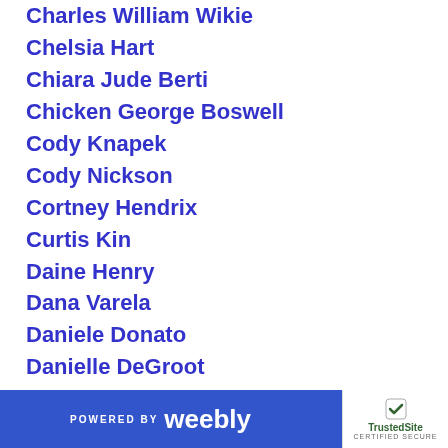Charles William Wikie
Chelsia Hart
Chiara Jude Berti
Chicken George Boswell
Cody Knapek
Cody Nickson
Cortney Hendrix
Curtis Kin
Daine Henry
Dana Varela
Daniele Donato
Danielle DeGroot
Danielle Reyes
Dave Flaherty
Dave Portnoy
David Lane
POWERED BY weebly | TrustedSite CERTIFIED SECURE